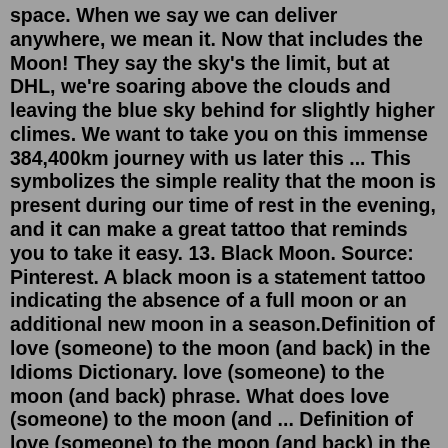space. When we say we can deliver anywhere, we mean it. Now that includes the Moon! They say the sky's the limit, but at DHL, we're soaring above the clouds and leaving the blue sky behind for slightly higher climes. We want to take you on this immense 384,400km journey with us later this ... This symbolizes the simple reality that the moon is present during our time of rest in the evening, and it can make a great tattoo that reminds you to take it easy. 13. Black Moon. Source: Pinterest. A black moon is a statement tattoo indicating the absence of a full moon or an additional new moon in a season.Definition of love (someone) to the moon (and back) in the Idioms Dictionary. love (someone) to the moon (and back) phrase. What does love (someone) to the moon (and ... Definition of love (someone) to the moon (and back) in the Idioms Dictionary. love (someone) to the moon (and back) phrase. What does love (someone) to the moon (and ... Sandra Magsamen is the author and illustrator of many books for young children, including the picture book When I Grow Up I Want